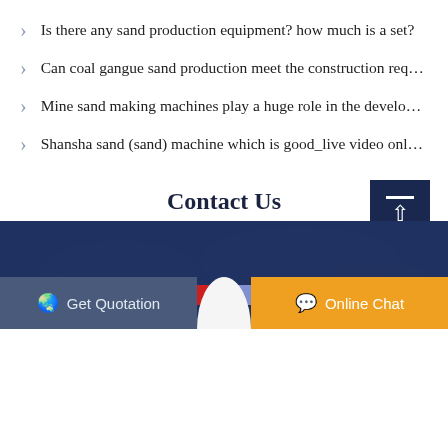Is there any sand production equipment? how much is a set?
Can coal gangue sand production meet the construction req…
Mine sand making machines play a huge role in the develo…
Shansha sand (sand) machine which is good_live video onl…
Contact Us
[Figure (other): Dark blue world map background section]
[Figure (infographic): Diagonal red and blue stripe bar decoration]
Get Quotation   Online Chat